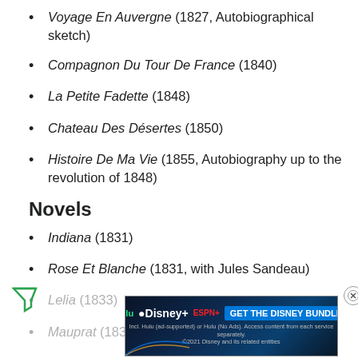Voyage En Auvergne (1827, Autobiographical sketch)
Compagnon Du Tour De France (1840)
La Petite Fadette (1848)
Chateau Des Désertes (1850)
Histoire De Ma Vie (1855, Autobiography up to the revolution of 1848)
Novels
Indiana (1831)
Rose Et Blanche (1831, with Jules Sandeau)
Lelia (1833)
Mauprat (1837)
[Figure (screenshot): Advertisement banner for Disney Bundle featuring Hulu, Disney+, and ESPN+ logos with 'GET THE DISNEY BUNDLE' call-to-action button and fine print.]